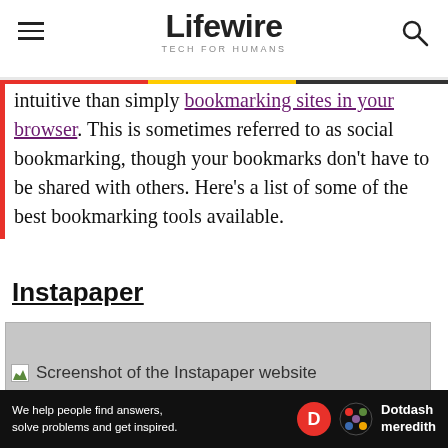Lifewire — TECH FOR HUMANS
intuitive than simply bookmarking sites in your browser. This is sometimes referred to as social bookmarking, though your bookmarks don't have to be shared with others. Here's a list of some of the best bookmarking tools available.
Instapaper
[Figure (screenshot): Screenshot of the Instapaper website — image placeholder shown in gray]
We help people find answers, solve problems and get inspired. Dotdash meredith